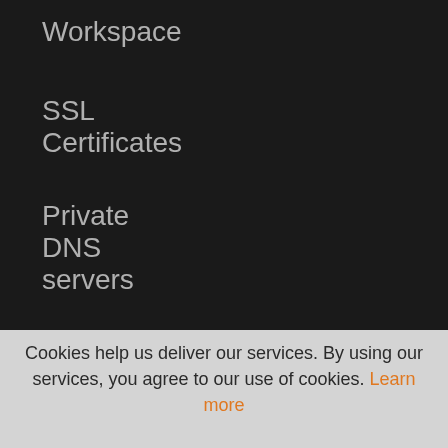Workspace
SSL Certificates
Private DNS servers
Cookies help us deliver our services. By using our services, you agree to our use of cookies. Learn more
Okay